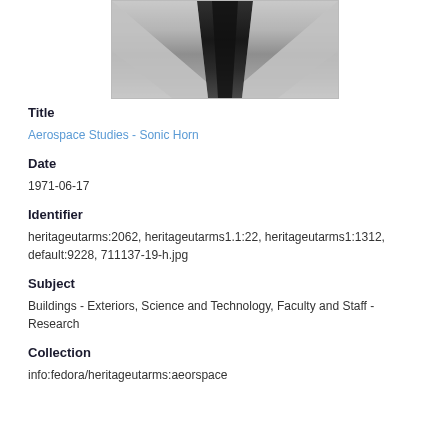[Figure (photo): Black and white photograph of a sonic horn/tunnel interior viewed from below, showing converging angular walls creating a triangular perspective.]
Title
Aerospace Studies - Sonic Horn
Date
1971-06-17
Identifier
heritageutarms:2062, heritageutarms1.1:22, heritageutarms1:1312, default:9228, 711137-19-h.jpg
Subject
Buildings - Exteriors, Science and Technology, Faculty and Staff - Research
Collection
info:fedora/heritageutarms:aeorspace